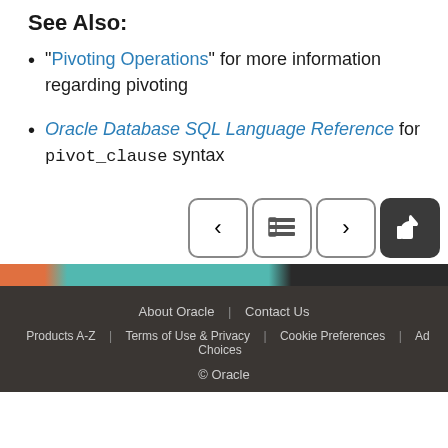See Also:
"Pivoting Operations" for more information regarding pivoting
Oracle Database SQL Language Reference for pivot_clause syntax
[Figure (other): Navigation buttons: previous, table of contents, next, and thumbs up feedback button]
[Figure (other): Decorative color bar strip]
About Oracle | Contact Us | Products A-Z | Terms of Use & Privacy | Cookie Preferences | Ad Choices | © Oracle